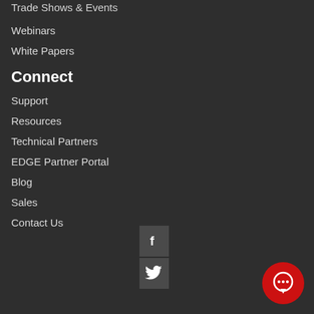Trade Shows & Events
Webinars
White Papers
Connect
Support
Resources
Technical Partners
EDGE Partner Portal
Blog
Sales
Contact Us
[Figure (illustration): Social media icons: Facebook and Twitter, plus a red chat bubble icon in the bottom right corner]